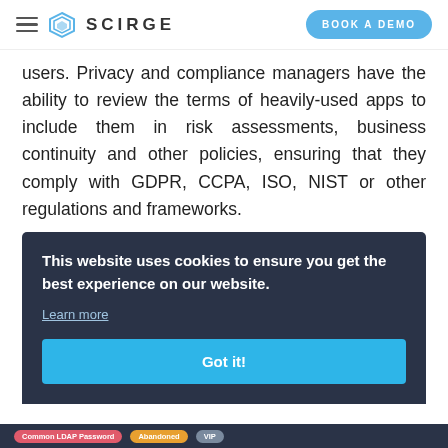SCIRGE | BOOK A DEMO
users. Privacy and compliance managers have the ability to review the terms of heavily-used apps to include them in risk assessments, business continuity and other policies, ensuring that they comply with GDPR, CCPA, ISO, NIST or other regulations and frameworks.
Lo... pa... al... re...
This website uses cookies to ensure you get the best experience on our website.
Learn more
Got it!
Common LDAP Password   Abandoned   VIP